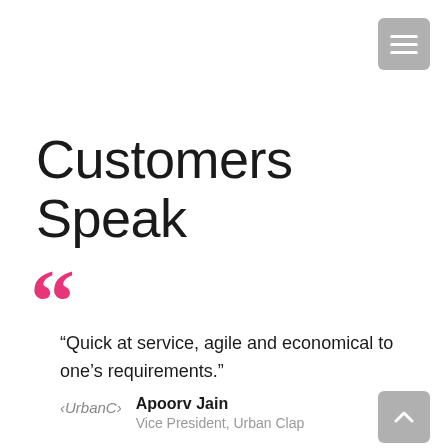[Figure (other): Hamburger menu button (grey rounded square with three white horizontal lines) in top-right corner]
Customers Speak
[Figure (other): Large pink/hot-pink double open quotation mark decorative element]
“Quick at service, agile and economical to one’s requirements.”
Apoorv Jain
Vice President, Urban Clap
[Figure (logo): UrbanClap logo text in grey italic serif font]
[Figure (other): Up/back-to-top button (grey rounded square with white chevron arrow pointing up) in bottom-right corner]